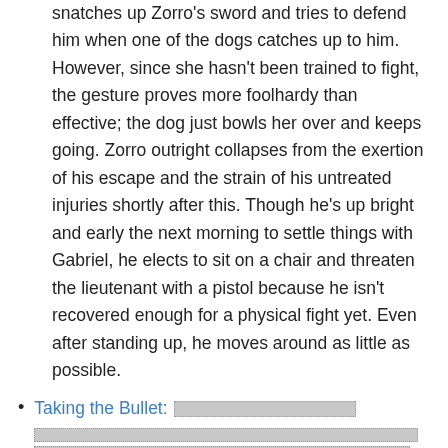snatches up Zorro's sword and tries to defend him when one of the dogs catches up to him. However, since she hasn't been trained to fight, the gesture proves more foolhardy than effective; the dog just bowls her over and keeps going. Zorro outright collapses from the exertion of his escape and the strain of his untreated injuries shortly after this. Though he's up bright and early the next morning to settle things with Gabriel, he elects to sit on a chair and threaten the lieutenant with a pistol because he isn't recovered enough for a physical fight yet. Even after standing up, he moves around as little as possible.
Taking the Bullet: [spoiler content]
Theme Music Power-Up: When Zorro's main theme music starts playing, expect the villains to be completely